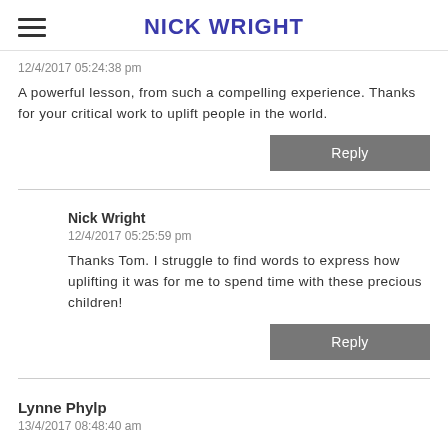NICK WRIGHT
12/4/2017 05:24:38 pm
A powerful lesson, from such a compelling experience. Thanks for your critical work to uplift people in the world.
Nick Wright
12/4/2017 05:25:59 pm
Thanks Tom. I struggle to find words to express how uplifting it was for me to spend time with these precious children!
Lynne Phylp
13/4/2017 08:48:40 am